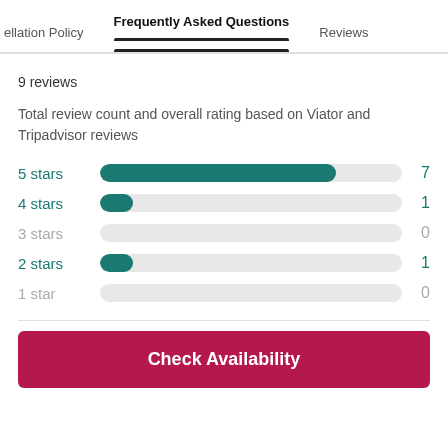ellation Policy   Frequently Asked Questions   Reviews
9 reviews
Total review count and overall rating based on Viator and Tripadvisor reviews
[Figure (bar-chart): Star ratings]
Check Availability